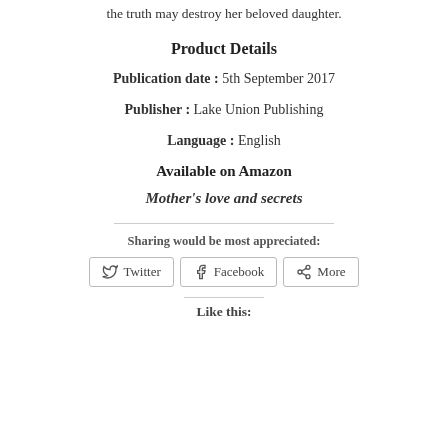the truth may destroy her beloved daughter.
Product Details
Publication date : 5th September 2017
Publisher : Lake Union Publishing
Language : English
Available on Amazon
Mother's love and secrets
Sharing would be most appreciated:
Twitter  Facebook  More
Like this: